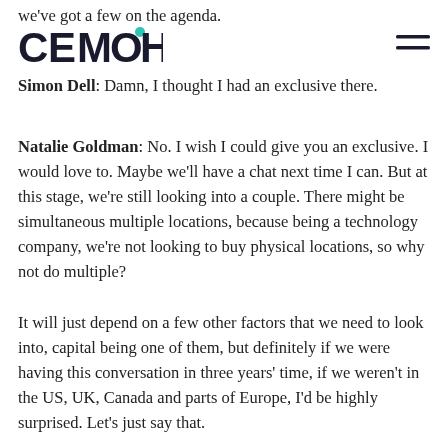we've got a few on the agenda.
CEMOH
Simon Dell: Damn, I thought I had an exclusive there.
Natalie Goldman: No. I wish I could give you an exclusive. I would love to. Maybe we'll have a chat next time I can. But at this stage, we're still looking into a couple. There might be simultaneous multiple locations, because being a technology company, we're not looking to buy physical locations, so why not do multiple?
It will just depend on a few other factors that we need to look into, capital being one of them, but definitely if we were having this conversation in three years' time, if we weren't in the US, UK, Canada and parts of Europe, I'd be highly surprised. Let's just say that.